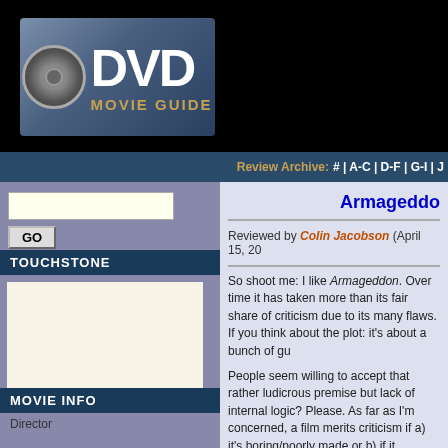[Figure (logo): DVD Movie Guide logo with film reel icon]
Review Archive: # | A-C | D-F | G-I | J
GO
TOUCHSTONE
MOVIE INFO
Director
Armageddo
Reviewed by Colin Jacobson (April 15, 20
So shoot me: I like Armageddon. Over time it has taken more than its fair share of criticism due to its many flaws. If you think about the plot: it's about a bunch of gu
People seem willing to accept that rather ludicrous premise but lack of internal logic? Please. As far as I'm concerned, a film merits criticism if a) it's boring/poorly made or b) if it genuinely insults reality. In the first category we have the 1999 film as an example of shoddy filmmaking. An example of the latter comes when a film is severely damaged by the absurd manner in
Although a lot of people disagree, I don't think Armageddon fails either test. I recognize that the main plot is quite a stretch, but there's nothing in the body of the film that further pushes matters to the absurd. Also, the film is not boring; it maintains interest o
Put simply, Armageddon is a fun, fast, no-b formula producer Jerry Bruckheimer's use